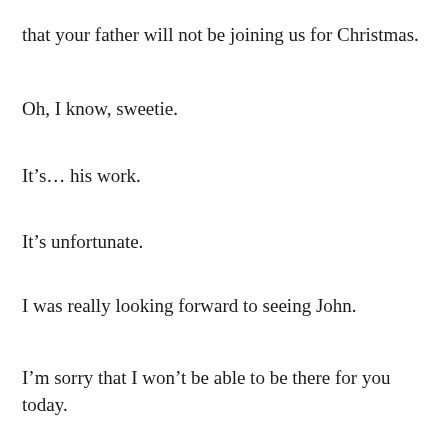that your father will not be joining us for Christmas.
Oh, I know, sweetie.
It's... his work.
It's unfortunate.
I was really looking forward to seeing John.
I'm sorry that I won't be able to be there for you today.